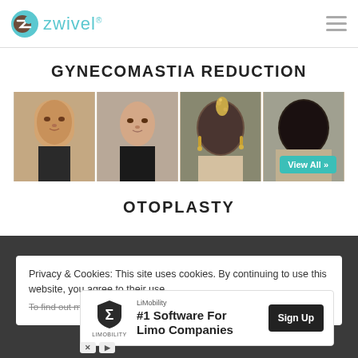Zwivel
GYNECOMASTIA REDUCTION
[Figure (photo): Four before/after patient photos for gynecomastia reduction — two male face photos (front-facing) and two female back-of-head photos. A 'View All »' teal button overlays the last photo.]
OTOPLASTY
Privacy & Cookies: This site uses cookies. By continuing to use this website, you agree to their use.
To find out more, including how to control cookies, see here: Cookie
[Figure (infographic): LiMobility advertisement banner: logo with shield and sigma symbol, '#1 Software For Limo Companies' text, and a black 'Sign Up' button. X and play icons at bottom left.]